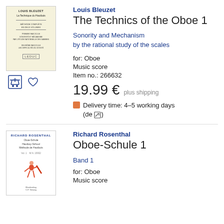[Figure (illustration): Book cover of 'La Technique du Hautbois' by Louis Bleuzet, cream/beige background with text and small logo at bottom]
Louis Bleuzet
The Technics of the Oboe 1
Sonority and Mechanism by the rational study of the scales
for: Oboe
Music score
Item no.: 266632
19.99 €  plus shipping
Delivery time: 4–5 working days (de ✎)
[Figure (illustration): Book cover of 'Oboe-Schule / Hautboy-School / Méthode de Hautbois' by Richard Rosenthal, white background with blue text and a red/orange figure illustration]
Richard Rosenthal
Oboe-Schule 1
Band 1
for: Oboe
Music score